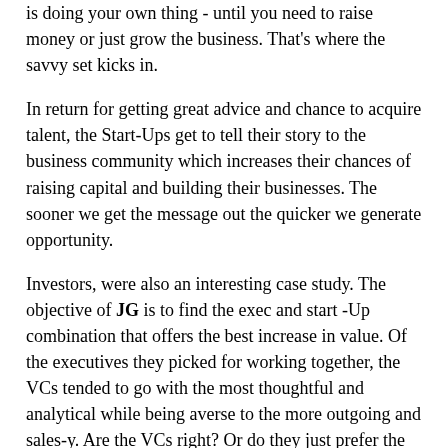is doing your own thing - until you need to raise money or just grow the business. That's where the savvy set kicks in.
In return for getting great advice and chance to acquire talent, the Start-Ups get to tell their story to the business community which increases their chances of raising capital and building their businesses. The sooner we get the message out the quicker we generate opportunity.
Investors, were also an interesting case study. The objective of JG is to find the exec and start -Up combination that offers the best increase in value. Of the executives they picked for working together, the VCs tended to go with the most thoughtful and analytical while being averse to the more outgoing and sales-y. Are the VCs right? Or do they just prefer the studious type on a personal level, perhaps viewing them as more "coachable".
Come to the next Job Generation and you be the judge.
Thanks to the feedback, we've figured out how to tweak this model so it will really crackle with creative tension - we'll be